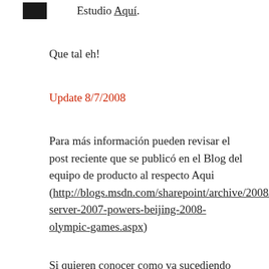[redacted] Estudio Aquí.
Que tal eh!
Update 8/7/2008
Para más información pueden revisar el post reciente que se publicó en el Blog del equipo de producto al respecto Aqui (http://blogs.msdn.com/sharepoint/archive/2008/08/06/sharepoint-server-2007-powers-beijing-2008-olympic-games.aspx)
Si quieren conocer como va sucediendo cada día, les invito a que consulten el Blog personal